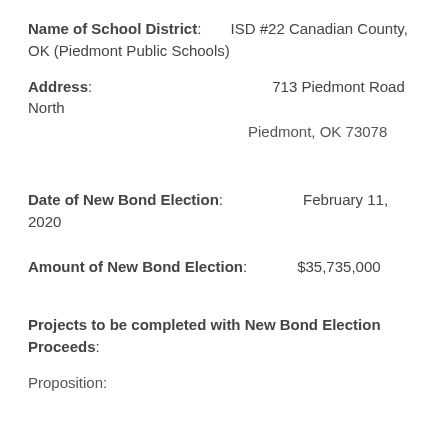Name of School District: ISD #22 Canadian County, OK (Piedmont Public Schools)
Address: 713 Piedmont Road North
Piedmont, OK 73078
Date of New Bond Election: February 11, 2020
Amount of New Bond Election: $35,735,000
Projects to be completed with New Bond Election Proceeds:
Proposition: